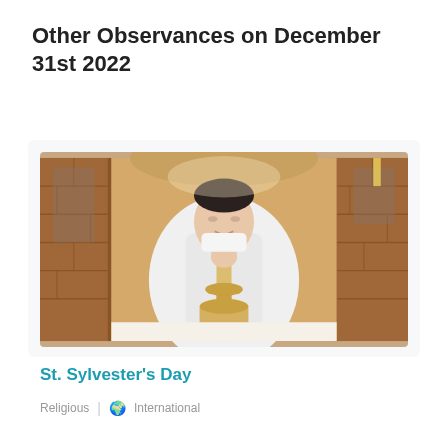Other Observances on December 31st 2022
[Figure (photo): A Catholic priest in white vestments performing a religious ceremony at an altar, holding his hands together in prayer, with a chalice visible on the altar, in a church with brick walls and statues.]
St. Sylvester's Day
Religious | International